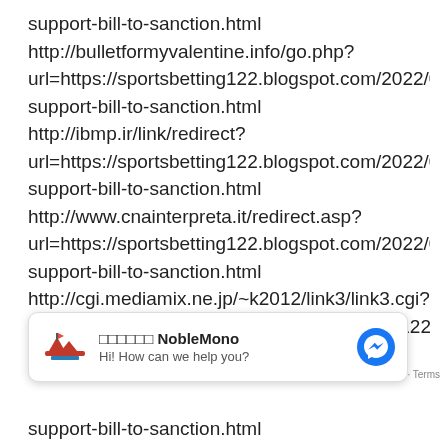support-bill-to-sanction.html
http://bulletformyvalentine.info/go.php?url=https://sportsbetting122.blogspot.com/2022/08/legislsupport-bill-to-sanction.html
http://ibmp.ir/link/redirect?url=https://sportsbetting122.blogspot.com/2022/08/legislsupport-bill-to-sanction.html
http://www.cnainterpreta.it/redirect.asp?url=https://sportsbetting122.blogspot.com/2022/08/legislsupport-bill-to-sanction.html
http://cgi.mediamix.ne.jp/~k2012/link3/link3.cgi?mode=cnt&no=3&hpurl=https://sportsbetting122.blogspsupport-bill-to-sanction.html
[Figure (screenshot): Chat widget from NobleMono with logo, name in squares and bold text, sub-text 'Hi! How can we help you?', and a blue Messenger icon button]
support-bill-to-sanction.html